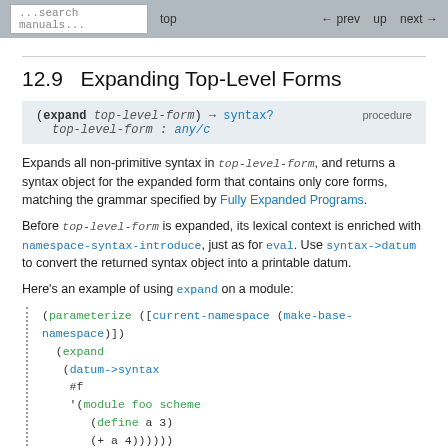...search manuals...   top   ← prev   up   next →
12.9  Expanding Top-Level Forms
(expand top-level-form) → syntax?   procedure
  top-level-form : any/c
Expands all non-primitive syntax in top-level-form, and returns a syntax object for the expanded form that contains only core forms, matching the grammar specified by Fully Expanded Programs.
Before top-level-form is expanded, its lexical context is enriched with namespace-syntax-introduce, just as for eval. Use syntax->datum to convert the returned syntax object into a printable datum.
Here's an example of using expand on a module:
(parameterize ([current-namespace (make-base-namespace)])
  (expand
   (datum->syntax
    #f
    '(module foo scheme
       (define a 3)
       (+ a 4)))))